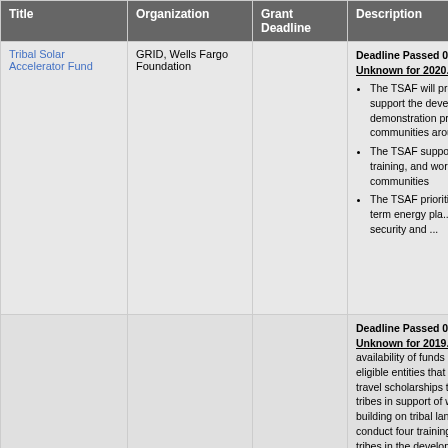| Title | Organization | Grant Deadline | Description |
| --- | --- | --- | --- |
| Tribal Solar Accelerator Fund | GRID, Wells Fargo Foundation |  | Deadline Passed 05/03/2... Unknown for 2020. • The TSAF will provide to support the development of demonstration projects for communities around... • The TSAF supports s... training, and workforce... tribal communities • The TSAF prioritizes... long-term energy pla... energy security and... |
|  |  |  | Deadline Passed 07/13/2... Unknown for 2019. This r... availability of funds and so... eligible entities that will pro... travel scholarships to fede... tribes in support of waste ... building on tribal lands. Th... conduct four training cours... tribes in the development... |